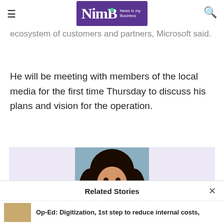NimB — News Is my Business
ecosystem of customers and partners, Microsoft said.
He will be meeting with members of the local media for the first time Thursday to discuss his plans and vision for the operation.
[Figure (photo): Headshot of a woman with curly dark hair against a blue-grey background, on a lavender/purple background panel]
Related Stories
Op-Ed: Digitization, 1st step to reduce internal costs,